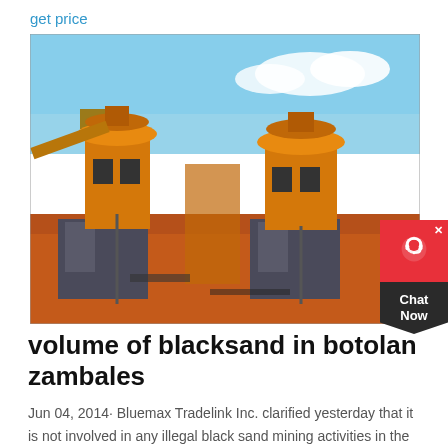get price
[Figure (photo): Mining equipment — large industrial machines (crushers or separators) on red-earth ground with conveyor belts and blue sky background, at a mining site in Zambales, Philippines.]
volume of blacksand in botolan zambales
Jun 04, 2014· Bluemax Tradelink Inc. clarified yesterday that it is not involved in any illegal black sand mining activities in the province of Zambales. The company's only activity in the province of Zambales particularly in Botolan is the exportation of lahar sand to the Singapore government for their massive reclamation project.
[Figure (other): Chat Now widget — red top section with headset icon and X close button, dark bottom chevron with 'Chat Now' text.]